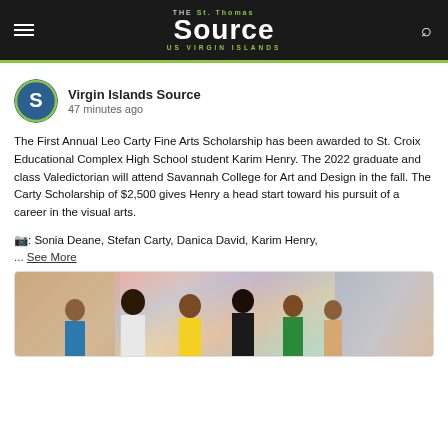The St. Thomas Source - US Virgin Islands
Virgin Islands Source
47 minutes ago
The First Annual Leo Carty Fine Arts Scholarship has been awarded to St. Croix Educational Complex High School student Karim Henry. The 2022 graduate and class Valedictorian will attend Savannah College for Art and Design in the fall. The Carty Scholarship of $2,500 gives Henry a head start toward his pursuit of a career in the visual arts.
📷: Sonia Deane, Stefan Carty, Danica David, Karim Henry, ... See More
[Figure (photo): Group photo of people standing in front of colorful artwork]